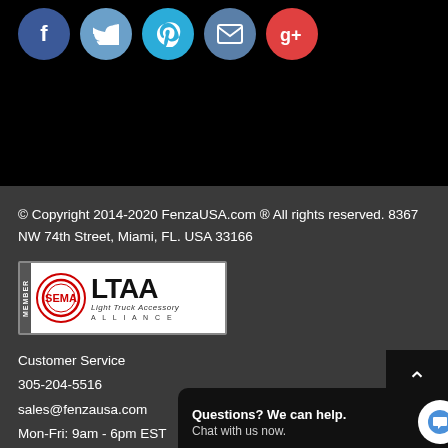[Figure (illustration): Row of social media icons (Facebook, Twitter, Pinterest, Email/Envelope, Google+) as colored circles on black background]
© Copyright 2014-2020 FenzaUSA.com ® All rights reserved. 8367 NW 74th Street, Miami, FL. USA 33166
[Figure (logo): LTAA - Light Truck Accessory Alliance membership logo with SEMA badge]
Customer Service
305-204-5516
sales@fenzausa.com
Mon-Fri: 9am - 6pm EST
Sat-Sun: Closed
[Figure (illustration): Payment method icons: VISA, VISA Electron, MasterCard]
Questions? We can help.
Chat with us now.